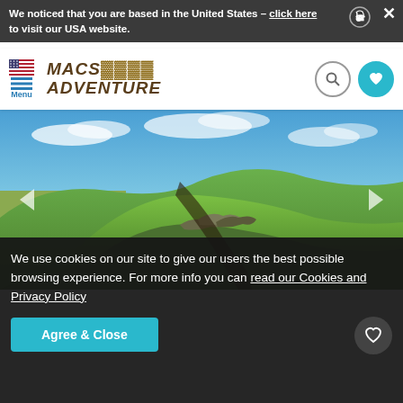We noticed that you are based in the United States – click here to visit our USA website.
[Figure (logo): Mac's Adventure logo with hamburger menu, US flag, and navigation icons]
[Figure (photo): Aerial view of Hadrian's Wall running across a green rolling hillside under a blue sky with scattered clouds]
We use cookies on our site to give our users the best possible browsing experience. For more info you can read our Cookies and Privacy Policy